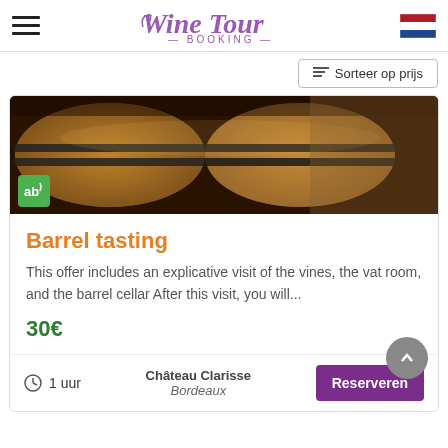Wine Tour Booking — Hamburger menu, logo, Dutch flag
Sorteer op prijs
[Figure (photo): Close-up photograph of wooden wine barrels in a cellar, with a green organic (AB) certification badge overlay in the lower left corner.]
Barrel tasting
This offer includes an explicative visit of the vines, the vat room, and the barrel cellar After this visit, you will...
30€
1 uur
Château Clarisse Bordeaux
Reserveren